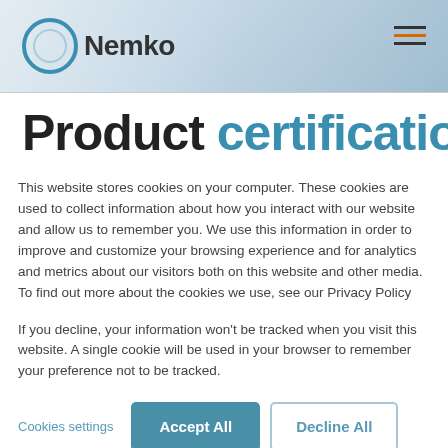[Figure (logo): Nemko logo with circular blue ring and bold black text 'Nemko']
Product certification
This website stores cookies on your computer. These cookies are used to collect information about how you interact with our website and allow us to remember you. We use this information in order to improve and customize your browsing experience and for analytics and metrics about our visitors both on this website and other media. To find out more about the cookies we use, see our Privacy Policy
If you decline, your information won't be tracked when you visit this website. A single cookie will be used in your browser to remember your preference not to be tracked.
Cookies settings   Accept All   Decline All